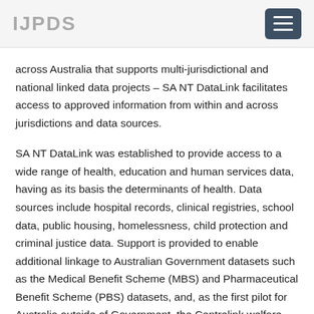IJPDS
across Australia that supports multi-jurisdictional and national linked data projects – SA NT DataLink facilitates access to approved information from within and across jurisdictions and data sources.
SA NT DataLink was established to provide access to a wide range of health, education and human services data, having as its basis the determinants of health. Data sources include hospital records, clinical registries, school data, public housing, homelessness, child protection and criminal justice data. Support is provided to enable additional linkage to Australian Government datasets such as the Medical Benefit Scheme (MBS) and Pharmaceutical Benefit Scheme (PBS) datasets, and, as the first pilot for Australia outside of Government, the Centrelink welfare and pension payments data.